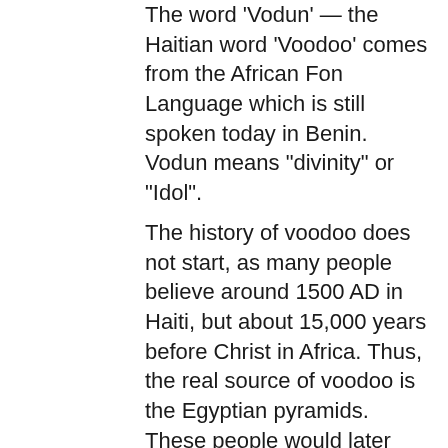The word 'Vodun' — the Haitian word 'Voodoo' comes from the African Fon Language which is still spoken today in Benin. Vodun means "divinity" or "Idol".
The history of voodoo does not start, as many people believe around 1500 AD in Haiti, but about 15,000 years before Christ in Africa. Thus, the real source of voodoo is the Egyptian pyramids. These people would later come to be called 'Yoruba'. They were slaves to the Pharaohs and Kings. These people were later released however they never forgot the unbelievable things that they saw. They had a profound admiration for God and desired to know him.
At that time the Yoruba people crossed from Egypt into Africa, using a route which crossed over into Afica from the Nile and